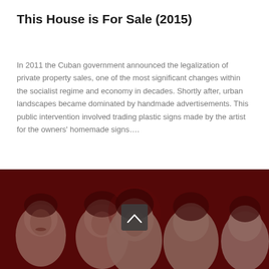This House is For Sale (2015)
In 2011 the Cuban government announced the legalization of private property sales, one of the most significant changes within the socialist regime and economy in decades. Shortly after, urban landscapes became dominated by handmade advertisements. This public intervention involved trading plastic signs made by the artist for the owners' homemade signs….
[Figure (photo): A dark red-toned photograph showing five people's faces against a deep crimson background, with a scroll-up arrow button overlaid in the center.]